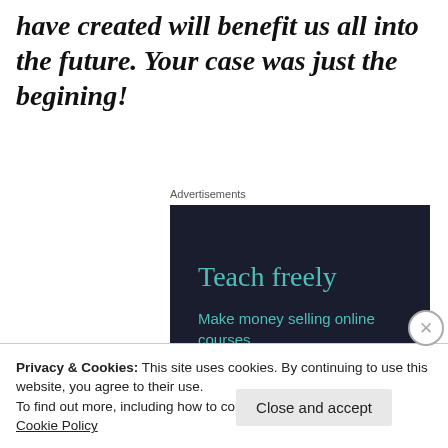have created will benefit us all into the future. Your case was just the begining!
Advertisements
[Figure (illustration): Dark navy advertisement box with teal text reading 'Teach freely' and subtitle 'Make money selling online courses.']
Privacy & Cookies: This site uses cookies. By continuing to use this website, you agree to their use.
To find out more, including how to control cookies, see here:
Cookie Policy
Close and accept